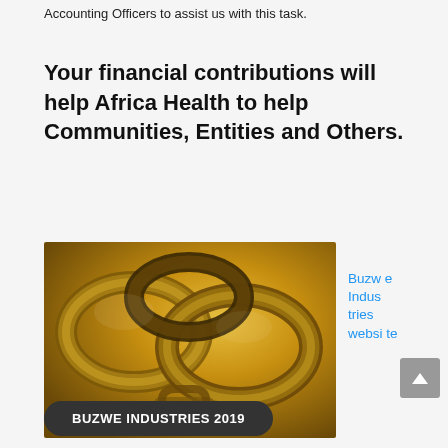Accounting Officers to assist us with this task.
Your financial contributions will help Africa Health to help Communities, Entities and Others.
[Figure (photo): Close-up photograph of metallic chain links with a golden/amber tone, suggesting security or connection themes.]
Buzwe Industries website
BUZWE INDUSTRIES 2019